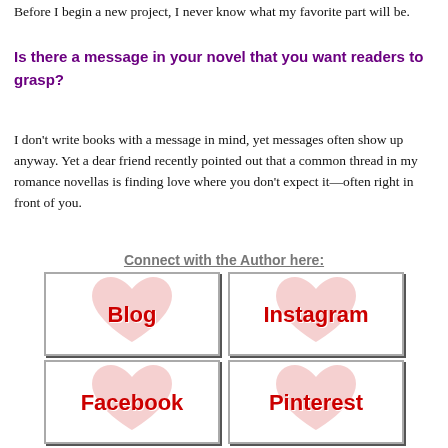Before I begin a new project, I never know what my favorite part will be.
Is there a message in your novel that you want readers to grasp?
I don't write books with a message in mind, yet messages often show up anyway. Yet a dear friend recently pointed out that a common thread in my romance novellas is finding love where you don't expect it—often right in front of you.
Connect with the Author here:
[Figure (infographic): Four social media buttons arranged in a 2x2 grid, each showing text on a heart background: Blog, Instagram, Facebook, Pinterest]
[Figure (infographic): Two partially visible social media buttons at the bottom: Twitter and Website (partially cut off)]